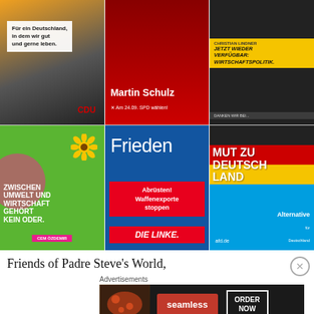[Figure (photo): Grid of 6 German political party election campaign posters: CDU (Merkel), SPD (Martin Schulz), FDP (Christian Lindner), Greens (Cem Özdemir), Die Linke (Frieden/Abrüsten), AfD (Mut zu Deutschland)]
Friends of Padre Steve's World,
Advertisements
[Figure (infographic): Seamless food delivery advertisement banner with pizza image, Seamless logo, and ORDER NOW button]